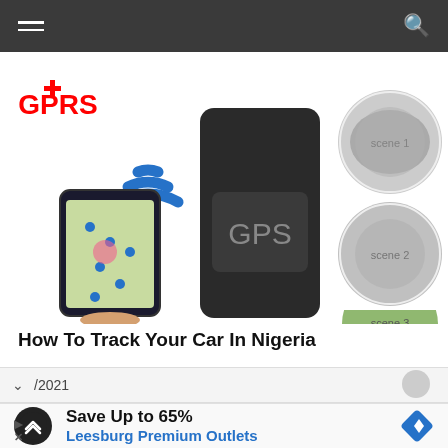Navigation bar with hamburger menu and search icon
[Figure (photo): Collage showing a GPS tracker device with 'GPS' text on it, a smartphone displaying a map app, GPRS logo in red, wifi/signal icon in blue, and circular thumbnails on the right showing car-related scenes including a masked person, a person in a car, and a partial outdoor scene.]
How To Track Your Car In Nigeria
/2021
[Figure (other): Advertisement banner: circular black logo with double arrow symbol, text 'Save Up to 65%' in bold black, 'Leesburg Premium Outlets' in blue, and a blue diamond-shaped navigation/directions icon on the right.]